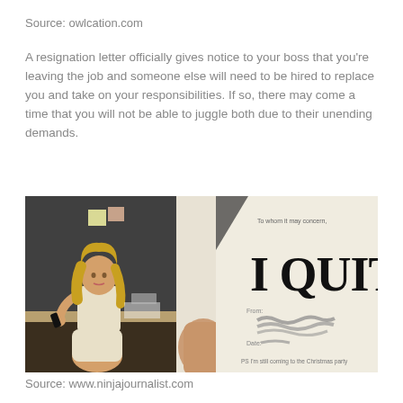Source: owlcation.com
A resignation letter officially gives notice to your boss that you're leaving the job and someone else will need to be hired to replace you and take on your responsibilities. If so, there may come a time that you will not be able to juggle both due to their unending demands.
[Figure (photo): Left: woman with blonde hair sitting at office desk talking on phone in white dress. Right: hand holding a resignation letter with large bold text 'I QUIT!' and smaller text 'To whom it may concern' at top and 'PS I'm still coming to the Christmas party' at bottom, with a signature in the middle.]
Source: www.ninjajournalist.com